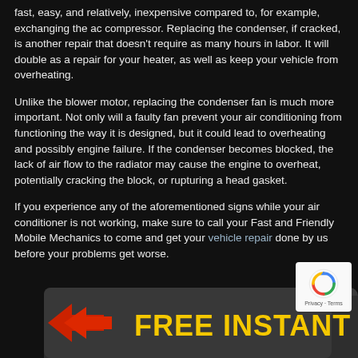fast, easy, and relatively, inexpensive compared to, for example, exchanging the ac compressor. Replacing the condenser, if cracked, is another repair that doesn't require as many hours in labor. It will double as a repair for your heater, as well as keep your vehicle from overheating.
Unlike the blower motor, replacing the condenser fan is much more important. Not only will a faulty fan prevent your air conditioning from functioning the way it is designed, but it could lead to overheating and possibly engine failure. If the condenser becomes blocked, the lack of air flow to the radiator may cause the engine to overheat, potentially cracking the block, or rupturing a head gasket.
If you experience any of the aforementioned signs while your air conditioner is not working, make sure to call your Fast and Friendly Mobile Mechanics to come and get your vehicle repair done by us before your problems get worse.
[Figure (infographic): Dark banner with yellow bold text reading 'FREE INSTANT QUOTE' with red arrow accents on left side, and a reCAPTCHA badge on the upper right corner.]